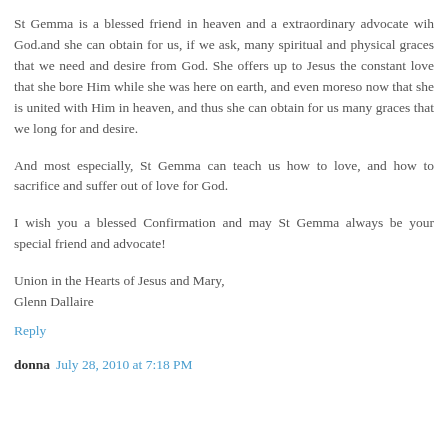St Gemma is a blessed friend in heaven and a extraordinary advocate wih God.and she can obtain for us, if we ask, many spiritual and physical graces that we need and desire from God. She offers up to Jesus the constant love that she bore Him while she was here on earth, and even moreso now that she is united with Him in heaven, and thus she can obtain for us many graces that we long for and desire.
And most especially, St Gemma can teach us how to love, and how to sacrifice and suffer out of love for God.
I wish you a blessed Confirmation and may St Gemma always be your special friend and advocate!
Union in the Hearts of Jesus and Mary,
Glenn Dallaire
Reply
donna July 28, 2010 at 7:18 PM